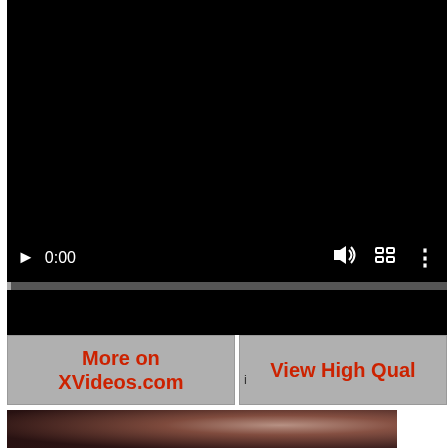[Figure (screenshot): Video player with black screen, showing controls: play button, time 0:00, volume icon, fullscreen icon, more options icon, and a progress bar. Below the player are two buttons: 'More on XVideos.com' and 'View High Qual'. At the bottom is a partial thumbnail image.]